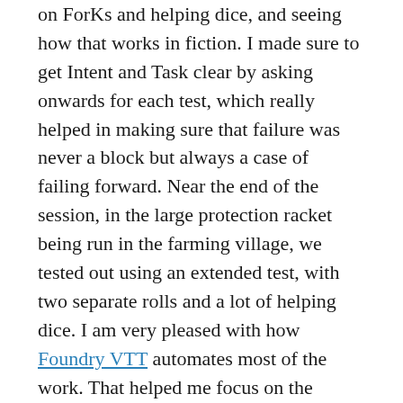on ForKs and helping dice, and seeing how that works in fiction. I made sure to get Intent and Task clear by asking onwards for each test, which really helped in making sure that failure was never a block but always a case of failing forward. Near the end of the session, in the large protection racket being run in the farming village, we tested out using an extended test, with two separate rolls and a lot of helping dice. I am very pleased with how Foundry VTT automates most of the work. That helped me focus on the narrative, and reduce the rules-referencing at the table.
We did run into some small rules questions, which I adjudicated on the spot with the